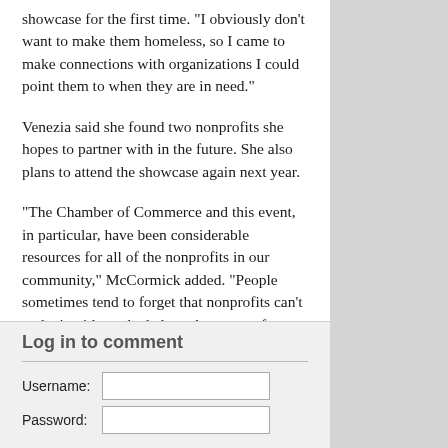showcase for the first time. "I obviously don't want to make them homeless, so I came to make connections with organizations I could point them to when they are in need."
Venezia said she found two nonprofits she hopes to partner with in the future. She also plans to attend the showcase again next year.
“The Chamber of Commerce and this event, in particular, have been considerable resources for all of the nonprofits in our community,” McCormick added. “People sometimes tend to forget that nonprofits can’t make it without the help and support of others. Even though we are mission organizations, we are still businesses.”
Log in to comment
Username: [input field]
Password: [input field]